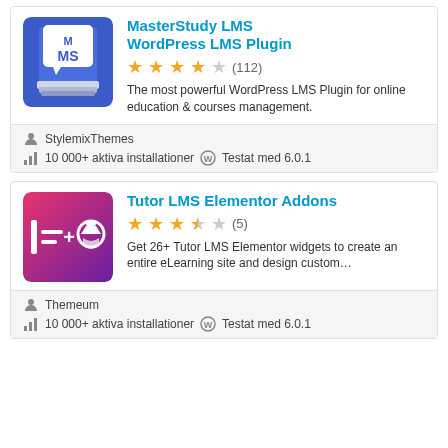[Figure (screenshot): MasterStudy LMS WordPress plugin icon - blue book with MS letters on white speech bubble]
MasterStudy LMS WordPress LMS Plugin
★★★★☆ (112)
The most powerful WordPress LMS Plugin for online education & courses management.
StylemixThemes
10 000+ aktiva installationer  Testat med 6.0.1
[Figure (screenshot): Tutor LMS Elementor Addons plugin icon - pink/purple gradient with Elementor and Tutor LMS logos]
Tutor LMS Elementor Addons
★★★★☆ (5)
Get 26+ Tutor LMS Elementor widgets to create an entire eLearning site and design custom…
Themeum
10 000+ aktiva installationer  Testat med 6.0.1